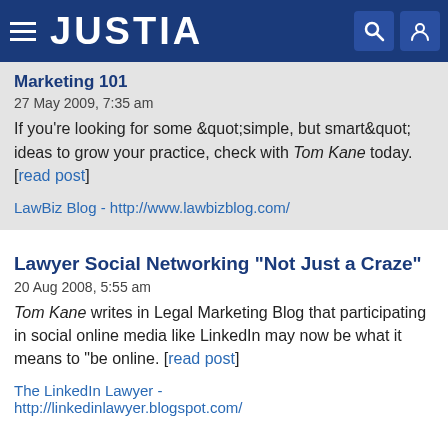JUSTIA
Marketing 101
27 May 2009, 7:35 am
If you're looking for some &quot;simple, but smart&quot; ideas to grow your practice, check with Tom Kane today. [read post]
LawBiz Blog - http://www.lawbizblog.com/
Lawyer Social Networking "Not Just a Craze"
20 Aug 2008, 5:55 am
Tom Kane writes in Legal Marketing Blog that participating in social online media like LinkedIn may now be what it means to "be online. [read post]
The LinkedIn Lawyer - http://linkedinlawyer.blogspot.com/